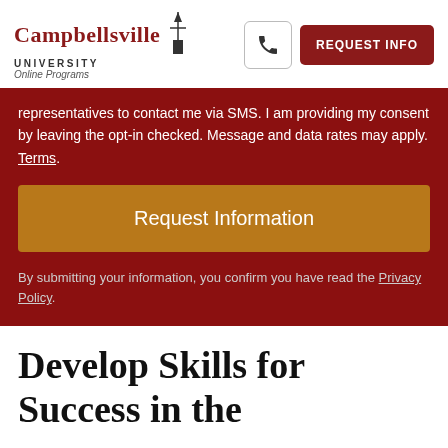Campbellsville University Online Programs | Phone | REQUEST INFO
representatives to contact me via SMS. I am providing my consent by leaving the opt-in checked. Message and data rates may apply. Terms.
Request Information
By submitting your information, you confirm you have read the Privacy Policy.
Develop Skills for Success in the